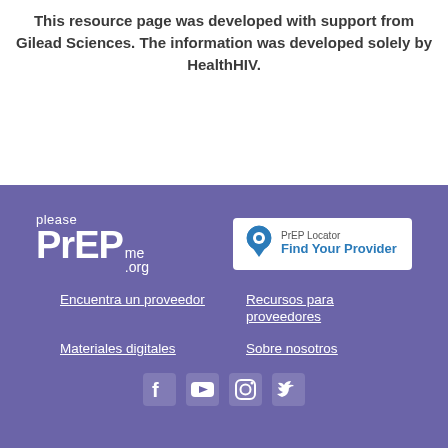This resource page was developed with support from Gilead Sciences. The information was developed solely by HealthHIV.
[Figure (logo): pleasePrEPme.org logo in white on purple background]
[Figure (logo): PrEP Locator - Find Your Provider logo in white box with blue text and location pin icon]
Encuentra un proveedor
Recursos para proveedores
Materiales digitales
Sobre nosotros
[Figure (other): Social media icons: Facebook, YouTube, Instagram, Twitter in white on purple background]